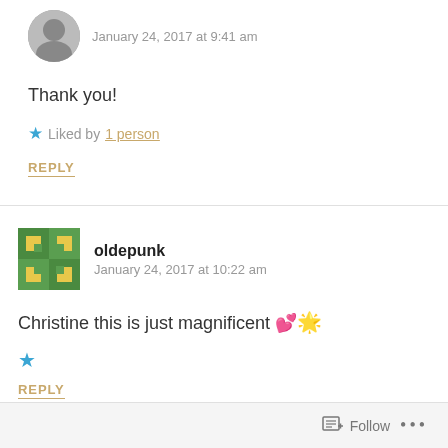January 24, 2017 at 9:41 am
Thank you!
★ Liked by 1 person
REPLY
oldepunk
January 24, 2017 at 10:22 am
Christine this is just magnificent 💕🌟
★
REPLY
Follow ...